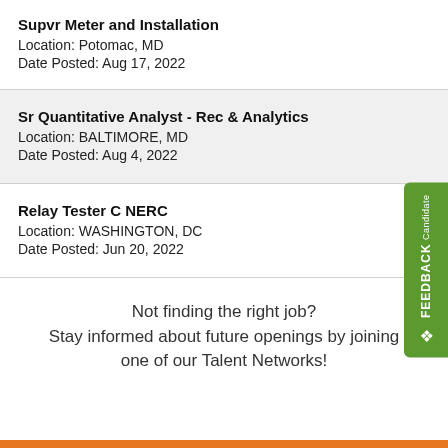Supvr Meter and Installation
Location: Potomac, MD
Date Posted: Aug 17, 2022
Sr Quantitative Analyst - Rec & Analytics
Location: BALTIMORE, MD
Date Posted: Aug 4, 2022
Relay Tester C NERC
Location: WASHINGTON, DC
Date Posted: Jun 20, 2022
Not finding the right job?
Stay informed about future openings by joining one of our Talent Networks!